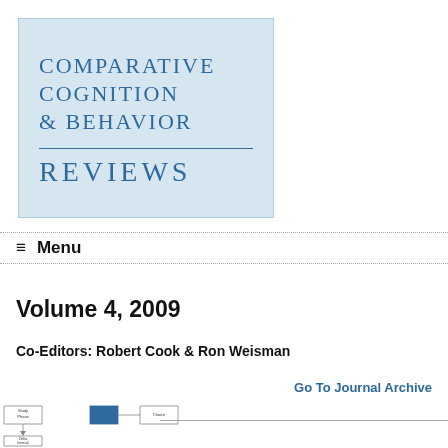[Figure (logo): Comparative Cognition & Behavior Reviews journal logo — light blue rectangle with journal title in small-caps serif blue text, horizontal rule, and REVIEWS in large small-caps below]
≡ Menu
Volume 4, 2009
Co-Editors: Robert Cook & Ron Weisman
Go To Journal Archive
[Figure (other): Partial view of a flowchart diagram at the bottom of the page, partially cropped]